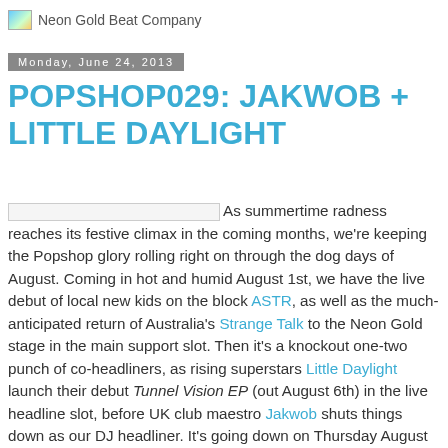Neon Gold Beat Company
Monday, June 24, 2013
POPSHOP029: JAKWOB + LITTLE DAYLIGHT
As summertime radness reaches its festive climax in the coming months, we're keeping the Popshop glory rolling right on through the dog days of August. Coming in hot and humid August 1st, we have the live debut of local new kids on the block ASTR, as well as the much-anticipated return of Australia's Strange Talk to the Neon Gold stage in the main support slot. Then it's a knockout one-two punch of co-headliners, as rising superstars Little Daylight launch their debut Tunnel Vision EP (out August 6th) in the live headline slot, before UK club maestro Jakwob shuts things down as our DJ headliner. It's going down on Thursday August 1st at our Santos Party Home, with $10 advance tickets now available HERE. Don't delay though, as this one's shaping up to be a Popshop for